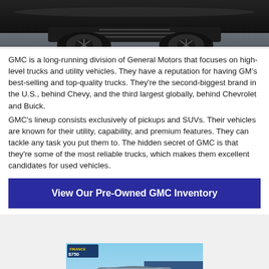[Figure (photo): Top portion of a dark GMC vehicle, showing front grille and hood area from a low angle.]
GMC is a long-running division of General Motors that focuses on high-level trucks and utility vehicles. They have a reputation for having GM's best-selling and top-quality trucks. They're the second-biggest brand in the U.S., behind Chevy, and the third largest globally, behind Chevrolet and Buick.
GMC's lineup consists exclusively of pickups and SUVs. Their vehicles are known for their utility, capability, and premium features. They can tackle any task you put them to. The hidden secret of GMC is that they're some of the most reliable trucks, which makes them excellent candidates for used vehicles.
View Our Pre-Owned GMC Inventory
[Figure (photo): A blue/silver GMC SUV at a dealership lot, front view, with other vehicles visible in the background and a sign reading $750.]